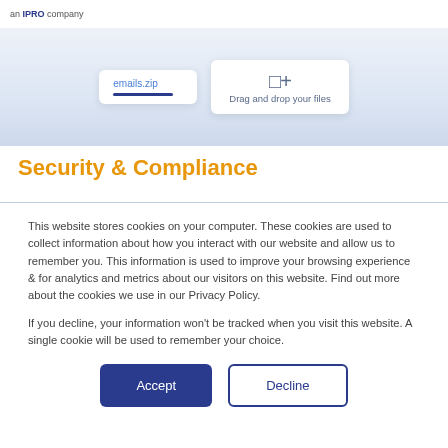an IPRO company
[Figure (screenshot): Screenshot of a file upload interface showing 'emails.zip' file card with a blue progress bar and a drag-and-drop upload area with a '+' icon and text 'Drag and drop your files']
Security & Compliance
This website stores cookies on your computer. These cookies are used to collect information about how you interact with our website and allow us to remember you. This information is used to improve your browsing experience & for analytics and metrics about our visitors on this website. Find out more about the cookies we use in our Privacy Policy.
If you decline, your information won't be tracked when you visit this website. A single cookie will be used to remember your choice.